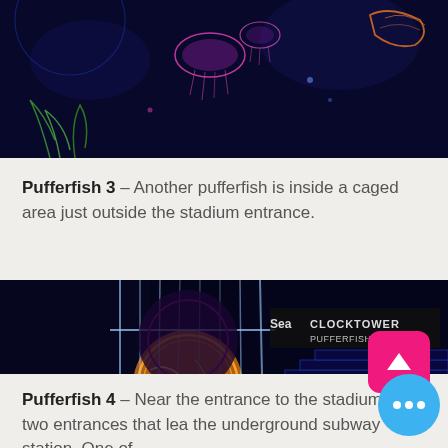[Figure (screenshot): Top portion of a dark blue/purple neon-lit game scene showing jellyfish-like creatures and glowing plants on a dark background. Part of a video game environment.]
Pufferfish 3 – Another pufferfish is inside a caged area just outside the stadium entrance.
[Figure (screenshot): A video game scene showing a large caged yellow pufferfish inside a futuristic neon-lit stadium area. An overlay label reads 'Sea CLOCKTOWER PUFFERFISH 1-5'. Dark environment with glowing neon outlines and crowd silhouettes. A pink triangular up-arrow button and a blue dots button appear overlaid.]
Pufferfish 4 – Near the entrance to the stadium are two entrances that lead to the underground subway station. One of